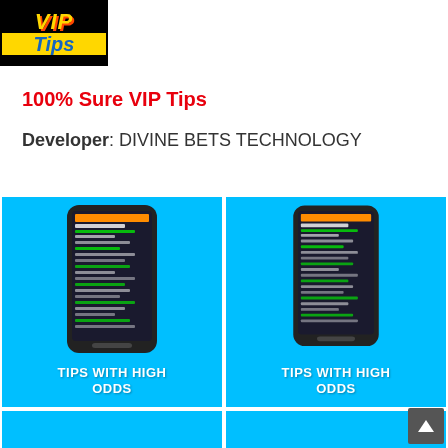[Figure (logo): VIP Tips logo - black background with gold italic VIP text and blue Tips text on yellow band]
100% Sure VIP Tips
Developer: DIVINE BETS TECHNOLOGY
[Figure (screenshot): Cyan background app screenshot showing phone with betting tips app and text TIPS WITH HIGH ODDS]
[Figure (screenshot): Cyan background app screenshot showing phone with betting tips app and text TIPS WITH HIGH ODDS]
[Figure (screenshot): Cyan background partial app screenshot at bottom left]
[Figure (screenshot): Cyan background partial app screenshot at bottom right]